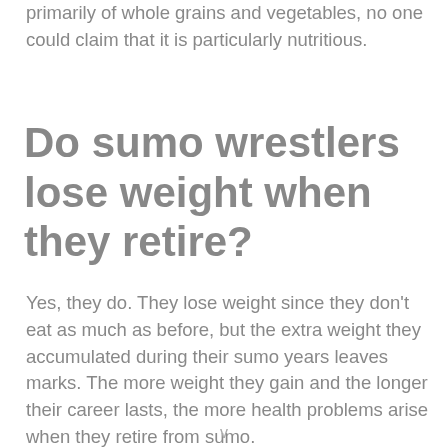primarily of whole grains and vegetables, no one could claim that it is particularly nutritious.
Do sumo wrestlers lose weight when they retire?
Yes, they do. They lose weight since they don't eat as much as before, but the extra weight they accumulated during their sumo years leaves marks. The more weight they gain and the longer their career lasts, the more health problems arise when they retire from sumo.
v